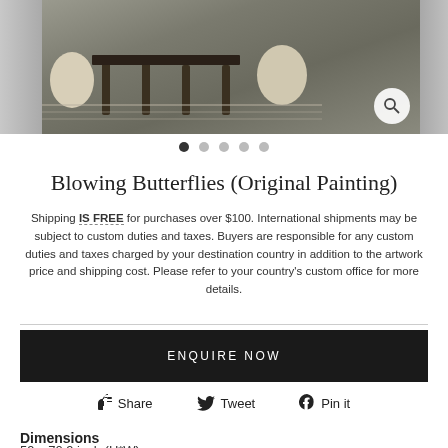[Figure (photo): Product lifestyle photo showing a rug in a living room setting with furniture, displayed as a carousel image strip with left and right partial images visible]
Blowing Butterflies (Original Painting)
Shipping IS FREE for purchases over $100. International shipments may be subject to custom duties and taxes. Buyers are responsible for any custom duties and taxes charged by your destination country in addition to the artwork price and shipping cost. Please refer to your country's custom office for more details.
ENQUIRE NOW
Share   Tweet   Pin it
Dimensions
59 x 70.9 inch (H*W)